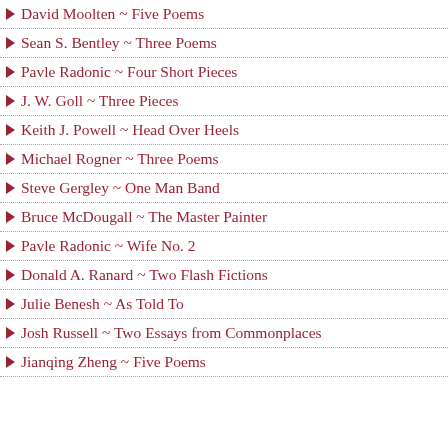David Moolten ~ Five Poems
Sean S. Bentley ~ Three Poems
Pavle Radonic ~ Four Short Pieces
J. W. Goll ~ Three Pieces
Keith J. Powell ~ Head Over Heels
Michael Rogner ~ Three Poems
Steve Gergley ~ One Man Band
Bruce McDougall ~ The Master Painter
Pavle Radonic ~ Wife No. 2
Donald A. Ranard ~ Two Flash Fictions
Julie Benesh ~ As Told To
Josh Russell ~ Two Essays from Commonplaces
Jianqing Zheng ~ Five Poems